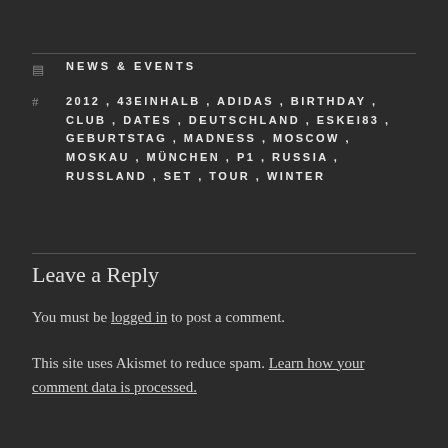NEWS & EVENTS
2012, 43EINHALB, ADIDAS, BIRTHDAY, CLUB, DATES, DEUTSCHLAND, ESKEI83, GEBURTSTAG, MADNESS, MOSCOW, MOSKAU, MÜNCHEN, P1, RUSSIA, RUSSLAND, SET, TOUR, WINTER
Leave a Reply
You must be logged in to post a comment.
This site uses Akismet to reduce spam. Learn how your comment data is processed.